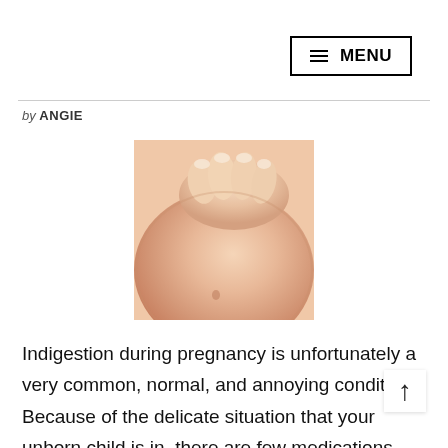≡ MENU
by ANGIE
[Figure (photo): Close-up of a pregnant woman's bare belly with her hand resting on it]
Indigestion during pregnancy is unfortunately a very common, normal, and annoying condition. Because of the delicate situation that your unborn child is in, there are few medications that you will be permitted to use when indigestion pain strikes. And, unli common indigestion problems in those who ar pregnant, indigestion during pregnancy can be